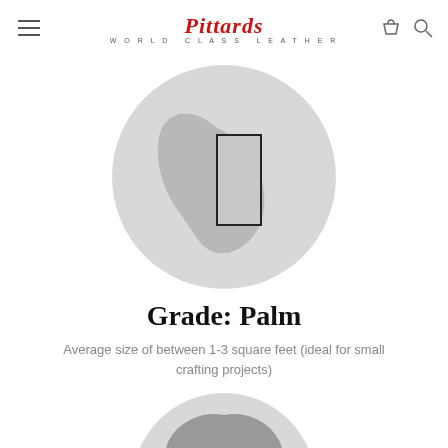Pittards World Class Leather
[Figure (illustration): Circular grey background with a silhouette of a hide/leather piece and a solid-bordered rectangular overlay indicating the palm grade cut area]
Grade: Palm
Average size of between 1-3 square feet (ideal for small crafting projects)
[Figure (illustration): Circular grey background with a silhouette of a full hide and a dotted-bordered rectangular overlay indicating a different grade cut area]